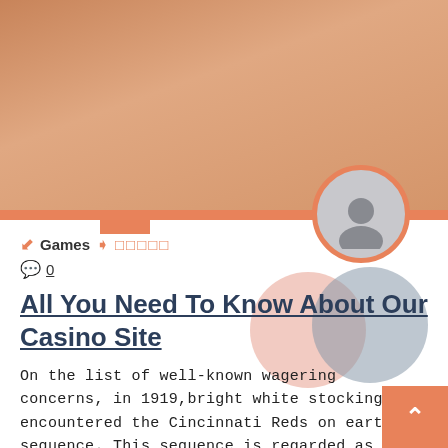[Figure (photo): Hero image with blurred brownish-orange background, decorative overlapping circles (peach and gray)]
Games  □□□□□
0
All You Need To Know About Our Casino Site
On the list of well-known wagering concerns, in 1919,bright white stockings encountered the Cincinnati Reds on earth sequence. This sequence is regarded as one of the biggest problems ever. Many people drop their jobs, their homes, their preserving, as well as the people. When we talk about its positives, it